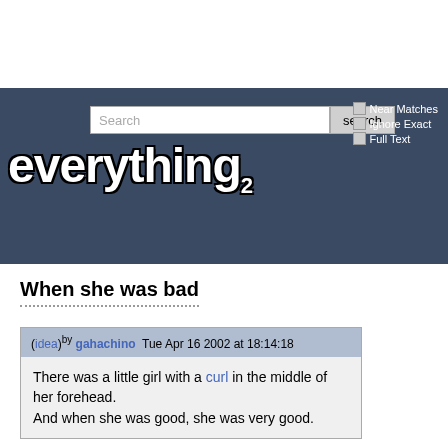[Figure (screenshot): Everything2 website header with search bar, search button, checkboxes for Near Matches, Ignore Exact, Full Text, and the everything2 logo in white bold text on dark blue background]
When she was bad
(idea) by gahachino  Tue Apr 16 2002 at 18:14:18
There was a little girl with a curl in the middle of her forehead.
And when she was good, she was very good.